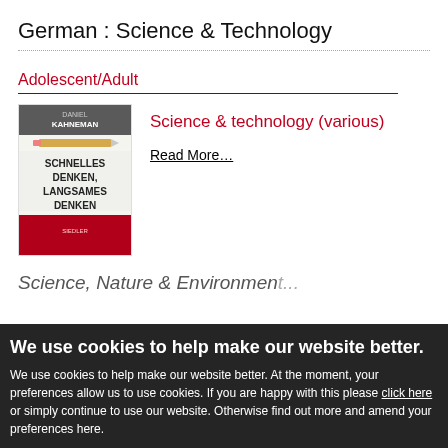German : Science & Technology
Adolescent/Adult
Science & technology (various)
Read More…
[Figure (photo): Book cover of Daniel Kahneman's Schnelles Denken, Langsames Denken]
We use cookies to help make our website better.
We use cookies to help make our website better. At the moment, your preferences allow us to use cookies. If you are happy with this please click here or simply continue to use our website. Otherwise find out more and amend your preferences here.